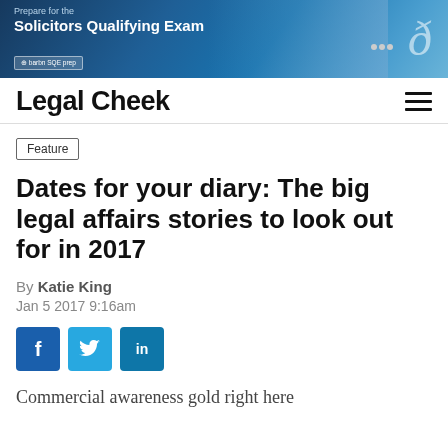[Figure (photo): Banner advertisement for Barbn SQE prep - Prepare for the Solicitors Qualifying Exam, showing two people at a laptop in an office setting]
Legal Cheek
Feature
Dates for your diary: The big legal affairs stories to look out for in 2017
By Katie King
Jan 5 2017 9:16am
[Figure (infographic): Social sharing buttons: Facebook, Twitter, LinkedIn]
Commercial awareness gold right here